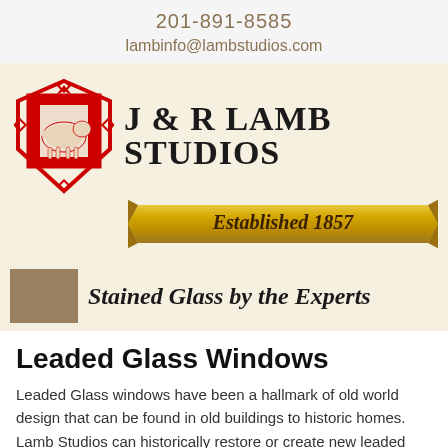201-891-8585
lambinfo@lambstudios.com
[Figure (logo): J & R Lamb Studios logo with red heraldic shield containing a lamb, company name in large serif bold text, and a gold ribbon banner reading Established 1857]
Stained Glass by the Experts
Leaded Glass Windows
Leaded Glass windows have been a hallmark of old world design that can be found in old buildings to historic homes. Lamb Studios can historically restore or create new leaded glass windows for your building or home.